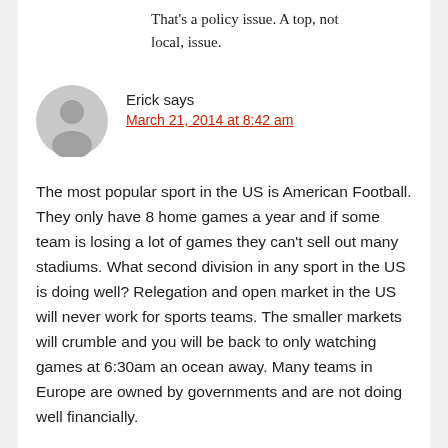That's a policy issue. A top, not local, issue.
[Figure (illustration): Gray circular avatar icon with silhouette of a person]
Erick says
March 21, 2014 at 8:42 am
The most popular sport in the US is American Football. They only have 8 home games a year and if some team is losing a lot of games they can't sell out many stadiums. What second division in any sport in the US is doing well? Relegation and open market in the US will never work for sports teams. The smaller markets will crumble and you will be back to only watching games at 6:30am an ocean away. Many teams in Europe are owned by governments and are not doing well financially.